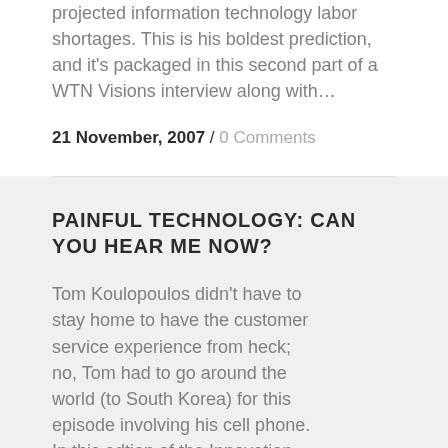projected information technology labor shortages. This is his boldest prediction, and it's packaged in this second part of a WTN Visions interview along with…
21 November, 2007 / 0 Comments
PAINFUL TECHNOLOGY: CAN YOU HEAR ME NOW?
Tom Koulopoulos didn't have to stay home to have the customer service experience from heck; no, Tom had to go around the world (to South Korea) for this episode involving his cell phone. In this edtion of the Innovation Zone, he finds common ground…